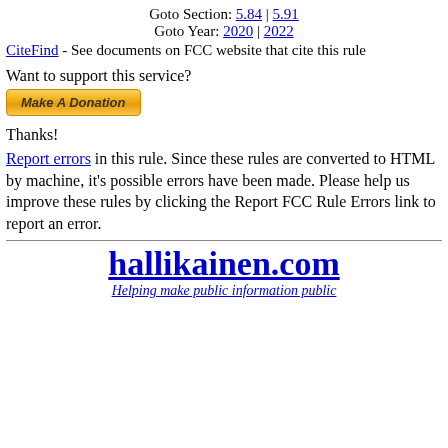Goto Section: 5.84 | 5.91
Goto Year: 2020 | 2022
CiteFind - See documents on FCC website that cite this rule
Want to support this service?
[Figure (other): Make A Donation button (PayPal-style golden button)]
Thanks!
Report errors in this rule. Since these rules are converted to HTML by machine, it's possible errors have been made. Please help us improve these rules by clicking the Report FCC Rule Errors link to report an error.
hallikainen.com
Helping make public information public